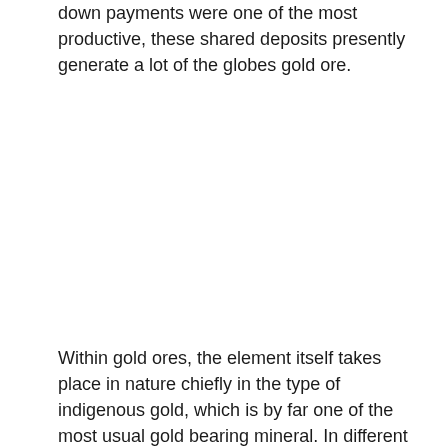down payments were one of the most productive, these shared deposits presently generate a lot of the globes gold ore.
Within gold ores, the element itself takes place in nature chiefly in the type of indigenous gold, which is by far one of the most usual gold bearing mineral. In different gold ores, the native gold frequently becomes a little fragment included within itself d...